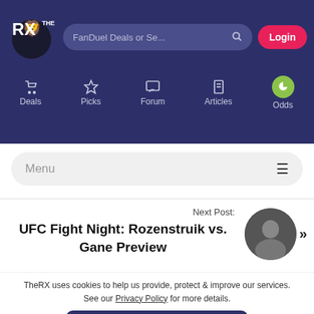[Figure (logo): TheRX lion logo with text THE RX in white]
FanDuel Deals or Se...
Login
Deals
Picks
Forum
Articles
Odds
Menu
Next Post:
UFC Fight Night: Rozenstruik vs. Gane Preview
[Figure (photo): Circular thumbnail photo of a person]
TheRX uses cookies to help us provide, protect & improve our services. See our Privacy Policy for more details.
Accept & Close